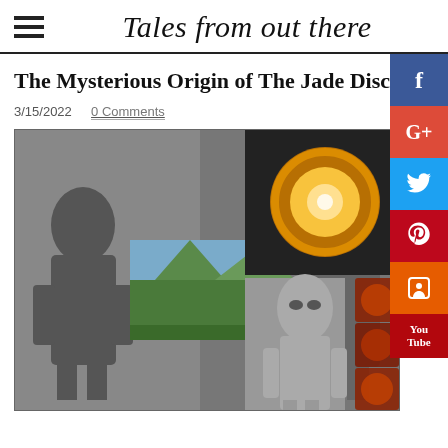Tales from out there
The Mysterious Origin of The Jade Discs
3/15/2022  0 Comments
[Figure (photo): Collage of images related to the Jade Discs: black and white photo of two small-statured figures, a mountain landscape photo, a glowing disc/orb in space, a grey alien figure, and reddish disc objects on right edge.]